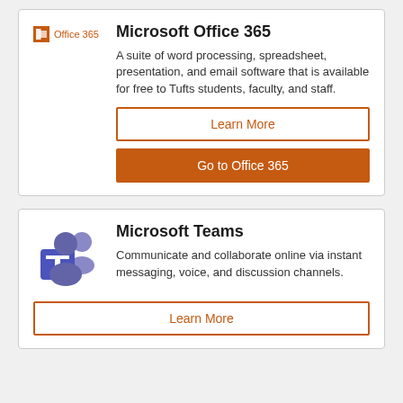[Figure (logo): Microsoft Office 365 logo with orange square icon and text 'Office 365']
Microsoft Office 365
A suite of word processing, spreadsheet, presentation, and email software that is available for free to Tufts students, faculty, and staff.
Learn More
Go to Office 365
[Figure (logo): Microsoft Teams logo - blue square with white T and purple silhouette figures]
Microsoft Teams
Communicate and collaborate online via instant messaging, voice, and discussion channels.
Learn More